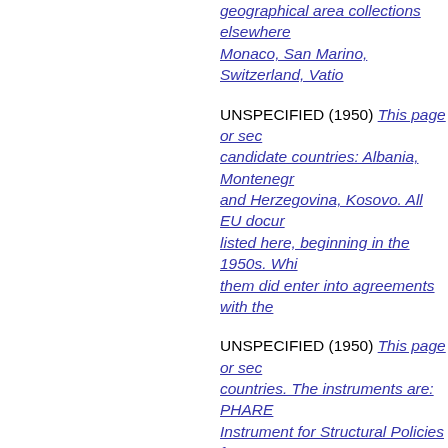geographical area collections elsewhere Monaco, San Marino, Switzerland, Vatic...
UNSPECIFIED (1950) This page or sec... candidate countries: Albania, Monteneg... and Herzegovina, Kosovo. All EU docur... listed here, beginning in the 1950s. Whi... them did enter into agreements with the...
UNSPECIFIED (1950) This page or sec... countries. The instruments are: PHARE... Instrument for Structural Policies for Pre... Development; IPA - Instrument for Pre-A... Studies. Documents on the same topic EXTERNAL:ENLARGEMENT:Pre-acces...
UNSPECIFIED (1950) This page or sec... Education" and contains the following in... ERASMUS Programme [1988-95,2013]... Organization of Higher Education Struc...
UNSPECIFIED (1950) This page or sec... includes the following individual annual...